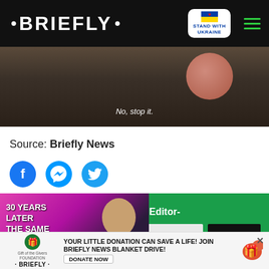· BRIEFLY ·
[Figure (screenshot): Video still showing a dark outdoor scene with a pink ball, caption reads 'No, stop it.']
No, stop it.
Source: Briefly News
[Figure (infographic): Social share icons: Facebook, Messenger, Twitter]
[Figure (infographic): Newsletter signup bar with text 'hottest news from our Editor-' and SIGN UP button, overlaid with a promotional video popup '30 YEARS LATER THE SAME TRAGEDY']
[Figure (infographic): Bottom advertisement: Gift of the Givers Foundation and Briefly News Blanket Drive - 'YOUR LITTLE DONATION CAN SAVE A LIFE! JOIN BRIEFLY NEWS BLANKET DRIVE!' with DONATE NOW button]